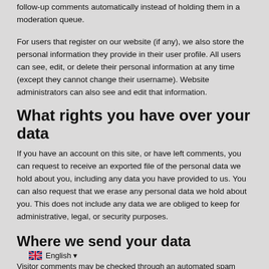follow-up comments automatically instead of holding them in a moderation queue.
For users that register on our website (if any), we also store the personal information they provide in their user profile. All users can see, edit, or delete their personal information at any time (except they cannot change their username). Website administrators can also see and edit that information.
What rights you have over your data
If you have an account on this site, or have left comments, you can request to receive an exported file of the personal data we hold about you, including any data you have provided to us. You can also request that we erase any personal data we hold about you. This does not include any data we are obliged to keep for administrative, legal, or security purposes.
Where we send your data
English ▾
Visitor comments may be checked through an automated spam